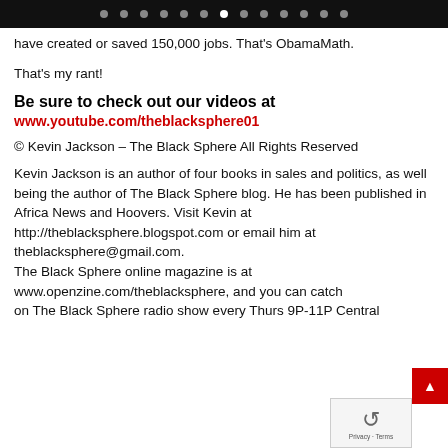navigation dots / slider indicator bar
have created or saved 150,000 jobs. That's ObamaMath.
That's my rant!
Be sure to check out our videos at
www.youtube.com/theblacksphere01
© Kevin Jackson – The Black Sphere All Rights Reserved
Kevin Jackson is an author of four books in sales and politics, as well being the author of The Black Sphere blog. He has been published in Africa News and Hoovers. Visit Kevin at http://theblacksphere.blogspot.com or email him at theblacksphere@gmail.com.
The Black Sphere online magazine is at www.openzine.com/theblacksphere, and you can catch on The Black Sphere radio show every Thurs 9P-11P Central